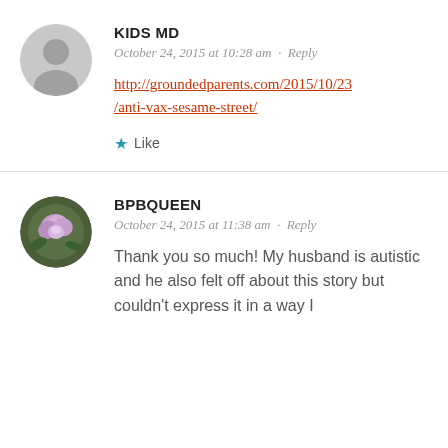KIDS MD
October 24, 2015 at 10:28 am · Reply
http://groundedparents.com/2015/10/23/anti-vax-sesame-street/
Like
BPBQUEEN
October 24, 2015 at 11:38 am · Reply
Thank you so much! My husband is autistic and he also felt off about this story but couldn't express it in a way I